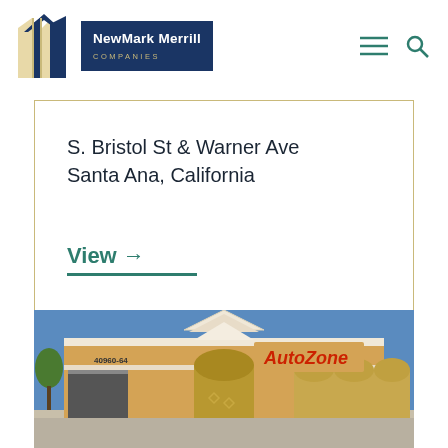[Figure (logo): NewMark Merrill Companies logo with geometric building icon and navy blue text block]
S. Bristol St & Warner Ave
Santa Ana, California
View →
[Figure (photo): AutoZone retail store exterior with beige stucco facade, arched entryway, red AutoZone signage, address number 40960-64 visible, blue sky background]